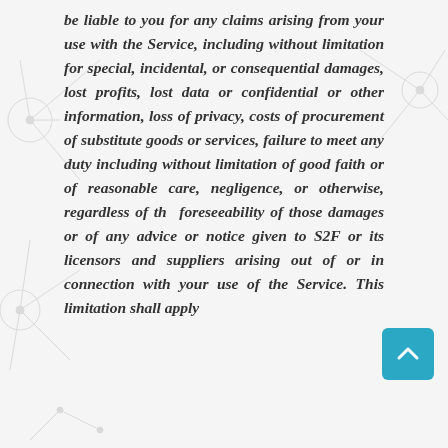be liable to you for any claims arising from your use with the Service, including without limitation for special, incidental, or consequential damages, lost profits, lost data or confidential or other information, loss of privacy, costs of procurement of substitute goods or services, failure to meet any duty including without limitation of good faith or of reasonable care, negligence, or otherwise, regardless of the foreseeability of those damages or of any advice or notice given to S2F or its licensors and suppliers arising out of or in connection with your use of the Service. This limitation shall apply